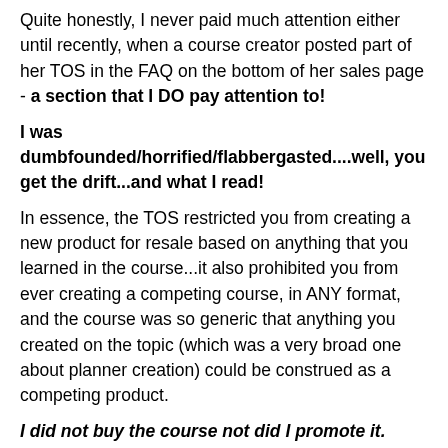Quite honestly, I never paid much attention either until recently, when a course creator posted part of her TOS in the FAQ on the bottom of her sales page - a section that I DO pay attention to!
I was dumbfounded/horrified/flabbergasted....well, you get the drift...and what I read!
In essence, the TOS restricted you from creating a new product for resale based on anything that you learned in the course...it also prohibited you from ever creating a competing course, in ANY format, and the course was so generic that anything you created on the topic (which was a very broad one about planner creation) could be construed as a competing product.
I did not buy the course not did I promote it.
Just this week, I was looking at a new course on creating digital planners and discovered some real doozies in its TOS...